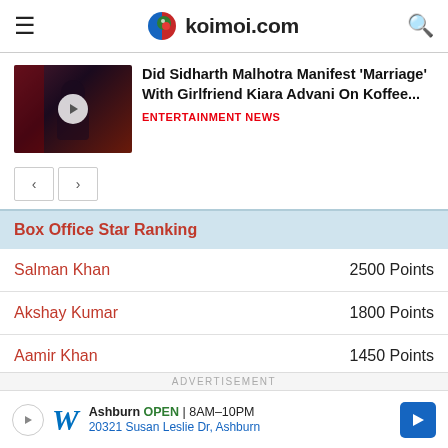koimoi.com
[Figure (photo): Thumbnail of Sidharth Malhotra on Koffee show with play button overlay]
Did Sidharth Malhotra Manifest 'Marriage' With Girlfriend Kiara Advani On Koffee...
ENTERTAINMENT NEWS
| Name | Points |
| --- | --- |
| Salman Khan | 2500 Points |
| Akshay Kumar | 1800 Points |
| Aamir Khan | 1450 Points |
| Ajay Devgn | 1300 Points |
ADVERTISEMENT
[Figure (other): Walgreens advertisement banner: Ashburn OPEN 8AM-10PM, 20321 Susan Leslie Dr, Ashburn]